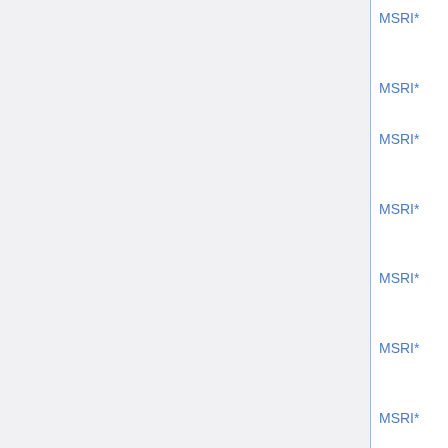MSRI* | Random Matrix Postdoc | Dec 1
MSRI* | Inverse Prob Prof | Oct 1
MSRI* | Inverse Prob Member | Dec 1
MSRI* | Inverse Prob Postdoc | Dec 1
MSRI* | Free Boundary Prof | Oct 1
MSRI* | Free Boundary Member | Dec 1
MSRI* | Free Boundary Postdoc | Dec 1
MSRI* | Arithmetic Prof | Oct 1